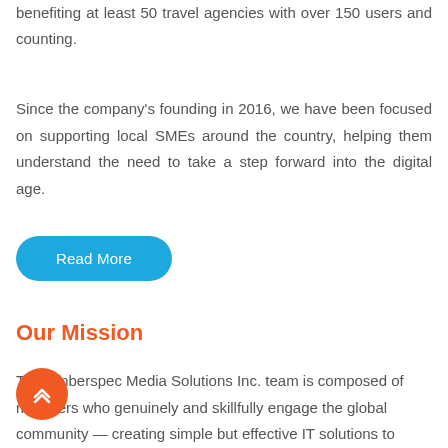benefiting at least 50 travel agencies with over 150 users and counting.
Since the company's founding in 2016, we have been focused on supporting local SMEs around the country, helping them understand the need to take a step forward into the digital age.
[Figure (other): Blue rounded rectangle button with white text 'Read More']
Our Mission
The Emberspec Media Solutions Inc. team is composed of members who genuinely and skillfully engage the global community — creating simple but effective IT solutions to complex business problems, and helping partners from the Philippines and beyond to
[Figure (other): Orange circular scroll-to-top button with double chevron up arrow icon]